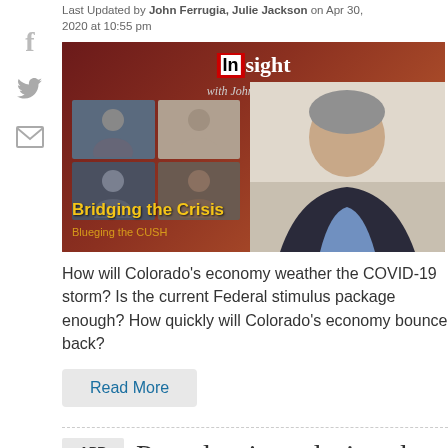Last Updated by John Ferrugia, Julie Jackson on Apr 30, 2020 at 10:55 pm
[Figure (screenshot): Video thumbnail for Insight with John Ferrugia showing 'Bridging the Crisis' with grid of video call participants and host on right side]
How will Colorado’s economy weather the COVID-19 storm? Is the current Federal stimulus package enough? How quickly will Colorado’s economy bounce back?
Read More
APR
Pet adoptions during the